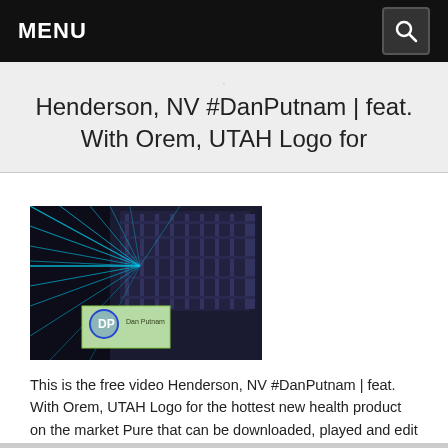MENU
Henderson, NV #DanPutnam | feat. With Orem, UTAH Logo for
[Figure (photo): Dark image of a music or tech stage with blue laser lights radiating outward, with a green/yellow DP Dan Putnam logo watermark in the lower left corner]
This is the free video Henderson, NV #DanPutnam | feat. With Orem, UTAH Logo for the hottest new health product on the market Pure that can be downloaded, played and edit with our RedcoolMedia movie maker MovieStudio free video editor online and AudioStudio free audio editor online